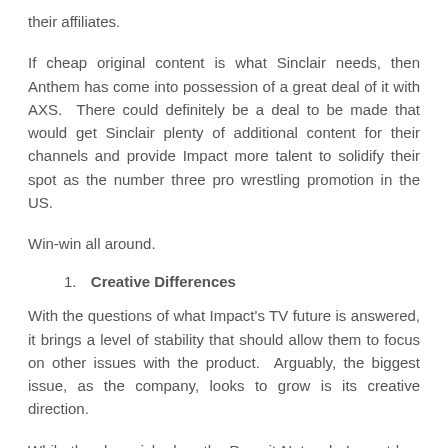their affiliates.
If cheap original content is what Sinclair needs, then Anthem has come into possession of a great deal of it with AXS. There could definitely be a deal to be made that would get Sinclair plenty of additional content for their channels and provide Impact more talent to solidify their spot as the number three pro wrestling promotion in the US.
Win-win all around.
1. Creative Differences
With the questions of what Impact's TV future is answered, it brings a level of stability that should allow them to focus on other issues with the product. Arguably, the biggest issue, as the company, looks to grow is its creative direction.
While they languished on the Pursuit Network, Impact has tried a few things to gain attention to the brand – the biggest being intergender wrestling, men wrestling women, which none of the other national promotions do.